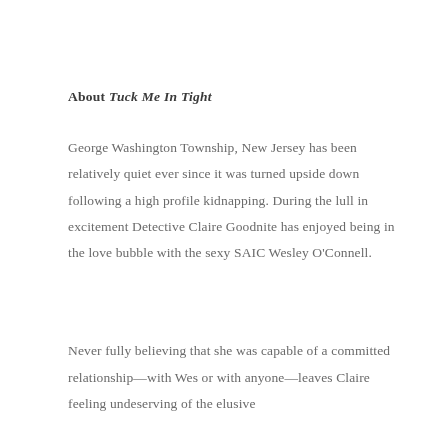About Tuck Me In Tight
George Washington Township, New Jersey has been relatively quiet ever since it was turned upside down following a high profile kidnapping. During the lull in excitement Detective Claire Goodnite has enjoyed being in the love bubble with the sexy SAIC Wesley O'Connell.
Never fully believing that she was capable of a committed relationship—with Wes or with anyone—leaves Claire feeling undeserving of the elusive